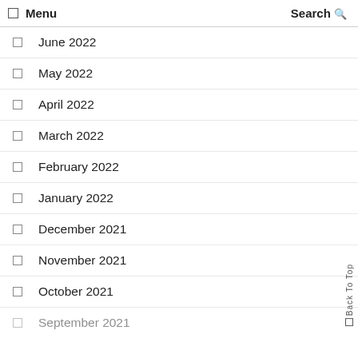Menu  Search
June 2022
May 2022
April 2022
March 2022
February 2022
January 2022
December 2021
November 2021
October 2021
September 2021